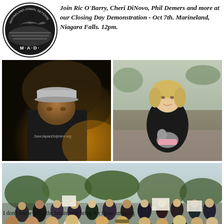[Figure (logo): M.A.D. (Marineland Animal Defense) circular logo with marine animal imagery]
Join Ric O'Barry, Cheri DiNovo, Phil Demers and more at our Closing Day Demonstration - Oct 7th. Marineland, Niagara Falls. 12pm.
[Figure (photo): Close-up photo of an older man wearing a cap and a dark t-shirt reading SaveJapanDolphins.org, backlit in warm light]
[Figure (photo): Photo of a woman with short blonde hair wearing a dark fur coat, crouching and holding a small dog]
[Figure (photo): Wide crowd photo of a large outdoor demonstration with protesters holding signs including one reading ANIMAL in a park/street setting]
I don't know what the future will bring for those amazing